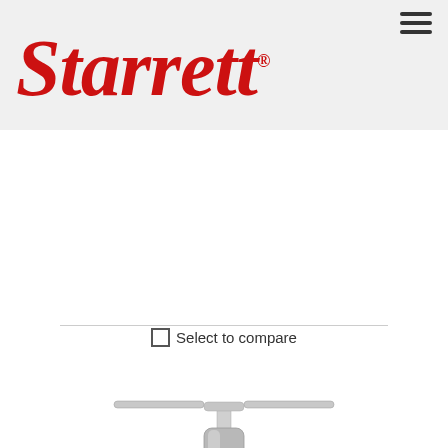[Figure (logo): Starrett brand logo in red italic serif font with registered trademark symbol]
☐ Select to compare
[Figure (photo): 93C T-Handle Tap Wrench product photo showing a chrome T-handle tap wrench with black grip rings]
93C T-Handle Tap Wrench
T-Handle Tap Wrench, 1/4-1/2" (6.4-12.7mm) Capacity Tap Size, 3-1/2" (90mm) Body Length, 3/16-5/16" (4.7-8mm) Square Shank